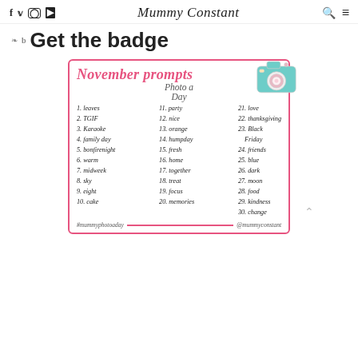f  twitter  instagram  youtube | Mummy Constant | search | menu
Get the badge
[Figure (infographic): November prompts - Photo a Day list with 30 prompts in 3 columns, decorated with a teal camera illustration. Prompts: 1.leaves, 2.TGIF, 3.Karaoke, 4.family day, 5.bonfirenight, 6.warm, 7.midweek, 8.sky, 9.eight, 10.cake, 11.party, 12.nice, 13.orange, 14.humpday, 15.fresh, 16.home, 17.together, 18.treat, 19.focus, 20.memories, 21.love, 22.thanksgiving, 23.Black Friday, 24.friends, 25.blue, 26.dark, 27.moon, 28.food, 29.kindness, 30.change. Footer: #mummyphotoaday @mummyconstant]